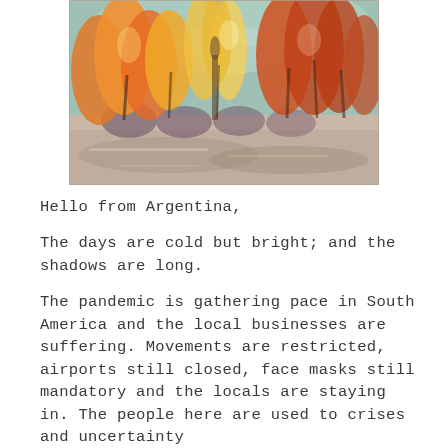[Figure (illustration): A painting of autumn trees in orange, red, and gold hues with a muted teal sky, reflected in a light sandy foreground. The style is loose and expressive, reminiscent of a watercolor or oil painting.]
Hello from Argentina,
The days are cold but bright; and the shadows are long.
The pandemic is gathering pace in South America and the local businesses are suffering. Movements are restricted, airports still closed, face masks still mandatory and the locals are staying in. The people here are used to crises and uncertainty